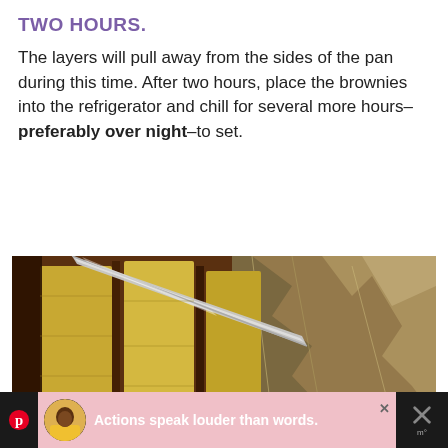TWO HOURS.
The layers will pull away from the sides of the pan during this time. After two hours, place the brownies into the refrigerator and chill for several more hours–preferably over night–to set.
[Figure (photo): A knife cutting through yellow layered brownie bars in a foil-lined pan, from a top-down angle.]
[Figure (infographic): Advertisement bar at bottom: dark left icon with P (Pinterest), avatar of person in yellow shirt, text 'Actions speak louder than words.', close X button, dark right icons with X and temperature symbol.]